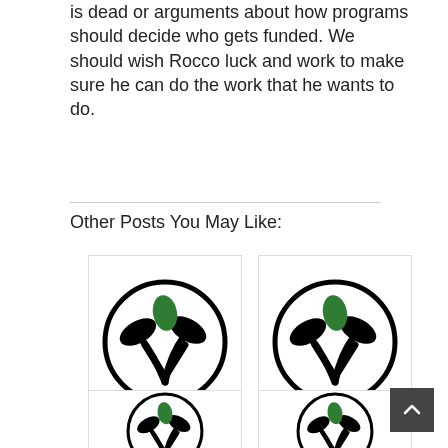is dead or arguments about how programs should decide who gets funded. We should wish Rocco luck and work to make sure he can do the work that he wants to do.
Other Posts You May Like:
[Figure (illustration): Logo: plant/leaf sprout inside a circle, black and green, for 'Niches Brew: Musicians Creating a Way Forward']
Niches Brew: Musicians Creating a Way Forward
[Figure (illustration): Logo: plant/leaf sprout inside a circle, black and green, for 'FONT Music: FORWARD FLIGHT']
FONT Music: FORWARD FLIGHT
[Figure (illustration): Logo: plant/leaf sprout inside a circle, black and green (partially visible, bottom row left)]
[Figure (illustration): Logo: plant/leaf sprout inside a circle, black and green (partially visible, bottom row right)]